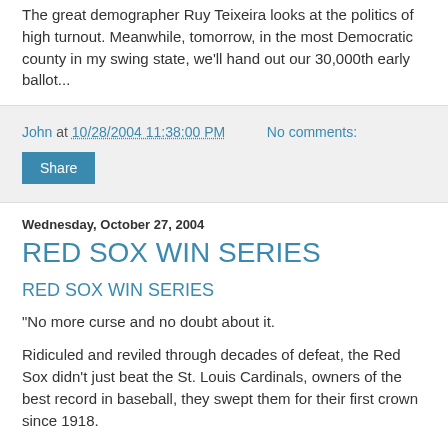The great demographer Ruy Teixeira looks at the politics of high turnout. Meanwhile, tomorrow, in the most Democratic county in my swing state, we'll hand out our 30,000th early ballot...
John at 10/28/2004 11:38:00 PM   No comments:
Share
Wednesday, October 27, 2004
RED SOX WIN SERIES
RED SOX WIN SERIES
"No more curse and no doubt about it.
Ridiculed and reviled through decades of defeat, the Red Sox didn't just beat the St. Louis Cardinals, owners of the best record in baseball, they swept them for their first crown since 1918.